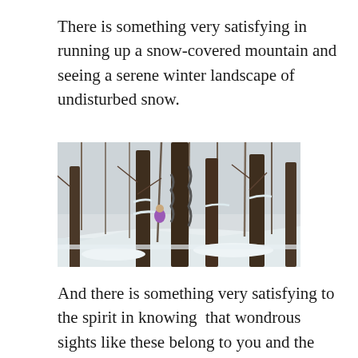There is something very satisfying in running up a snow-covered mountain and seeing a serene winter landscape of undisturbed snow.
[Figure (photo): Winter forest scene with bare snow-covered deciduous trees, deep snow on the ground, and a person in a purple jacket visible between the tree trunks. Hillside setting with white snowy landscape.]
And there is something very satisfying to the spirit in knowing  that wondrous sights like these belong to you and the small percentage of the population that understands that life is meant to be lived firsthand, and that the real